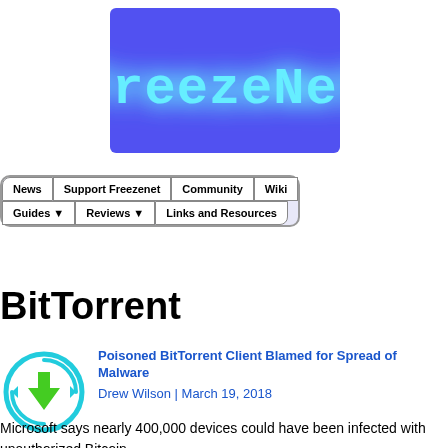[Figure (logo): FreezeNet logo: cyan/blue pixel-style text 'FreezeNet' on a blue glowing background]
[Figure (other): Navigation menu bar with buttons: News, Support Freezenet, Community, Wiki (top row); Guides dropdown, Reviews dropdown, Links and Resources (bottom row)]
BitTorrent
[Figure (other): BitTorrent download icon: green downward arrow inside cyan circular arrows]
Poisoned BitTorrent Client Blamed for Spread of Malware
Drew Wilson | March 19, 2018
Microsoft says nearly 400,000 devices could have been infected with unauthorized Bitcoin